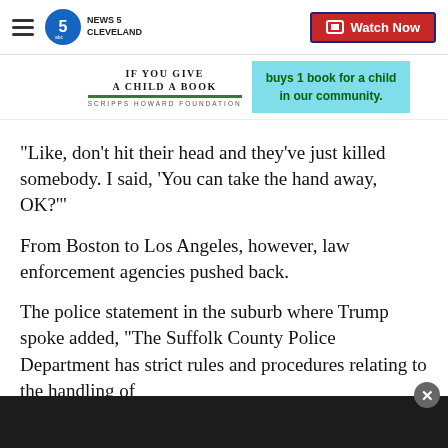News 5 Cleveland — Watch Now
[Figure (other): If You Give a Child a Book — Scripps Howard Foundation advertisement banner with teal box: 'buys 1 book for a child in our community.']
"Like, don't hit their head and they've just killed somebody. I said, 'You can take the hand away, OK?'"
From Boston to Los Angeles, however, law enforcement agencies pushed back.
The police statement in the suburb where Trump spoke added, "The Suffolk County Police Department has strict rules and procedures relating to the handling of